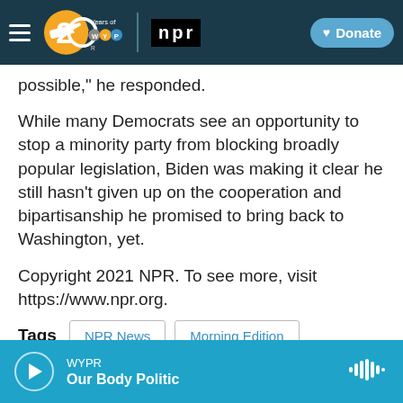WYPR 20 Years of WYPR | NPR | Donate
possible," he responded.
While many Democrats see an opportunity to stop a minority party from blocking broadly popular legislation, Biden was making it clear he still hasn't given up on the cooperation and bipartisanship he promised to bring back to Washington, yet.
Copyright 2021 NPR. To see more, visit https://www.npr.org.
Tags  NPR News  Morning Edition
WYPR Our Body Politic